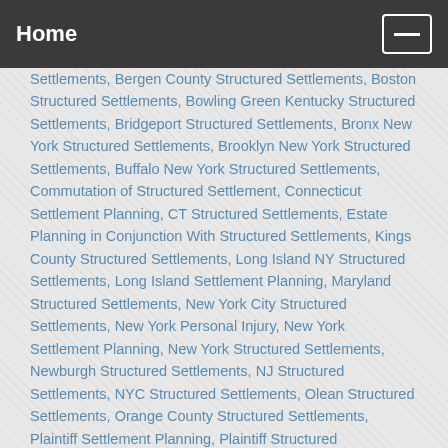Home
Settlements, Bergen County Structured Settlements, Boston Structured Settlements, Bowling Green Kentucky Structured Settlements, Bridgeport Structured Settlements, Bronx New York Structured Settlements, Brooklyn New York Structured Settlements, Buffalo New York Structured Settlements, Commutation of Structured Settlement, Connecticut Settlement Planning, CT Structured Settlements, Estate Planning in Conjunction With Structured Settlements, Kings County Structured Settlements, Long Island NY Structured Settlements, Long Island Settlement Planning, Maryland Structured Settlements, New York City Structured Settlements, New York Personal Injury, New York Settlement Planning, New York Structured Settlements, Newburgh Structured Settlements, NJ Structured Settlements, NYC Structured Settlements, Olean Structured Settlements, Orange County Structured Settlements, Plaintiff Settlement Planning, Plaintiff Structured Settlements, Rochester Structured Settlements, Settlements in Queens County New York, Staten Island Structured Settlements,